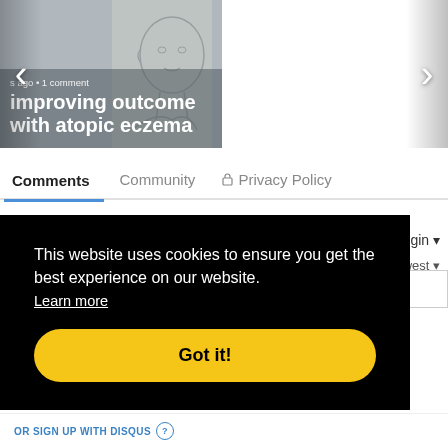[Figure (screenshot): Carousel of two article thumbnails. Left card: sketch illustration with text overlay 'improving outcome with atopic eczema'. Right card: photo of a man with text overlay '2 years ago • 1 comment' and 'Peter Norén talks to DrB'. Left and right navigation arrows visible.]
Comments   Community   🔒 Privacy Policy
Login ▾
ewest ▾
This website uses cookies to ensure you get the best experience on our website.
Learn more
Got it!
OR SIGN UP WITH DISQUS ?